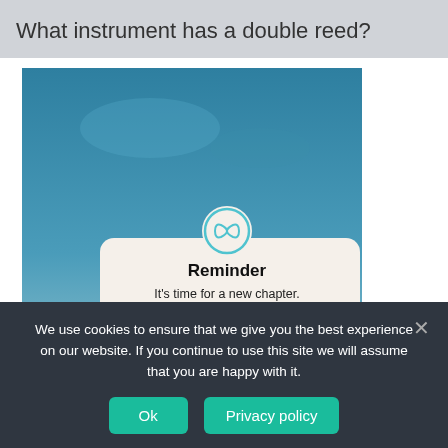What instrument has a double reed?
[Figure (screenshot): A website screenshot showing a photo with teal/blue sky background and a 'Reminder' popup modal. The modal has an infinity/loop icon at top, bold title 'Reminder', body text 'It’s time for a new chapter. Get a cheap and quick divorce online.' and two action links: 'See Options' and 'Start Now'.]
We use cookies to ensure that we give you the best experience on our website. If you continue to use this site we will assume that you are happy with it.
Ok
Privacy policy